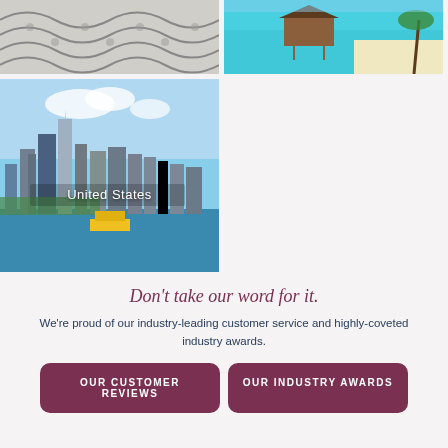[Figure (photo): Black and white patterned cobblestone pavement, top-left photo]
[Figure (photo): Tropical turquoise ocean with overwater bungalow and palm tree, top-right photo]
[Figure (photo): Aerial view of Manhattan New York City skyline with label 'United States']
Don't take our word for it.
We're proud of our industry-leading customer service and highly-coveted industry awards.
OUR CUSTOMER REVIEWS
OUR INDUSTRY AWARDS